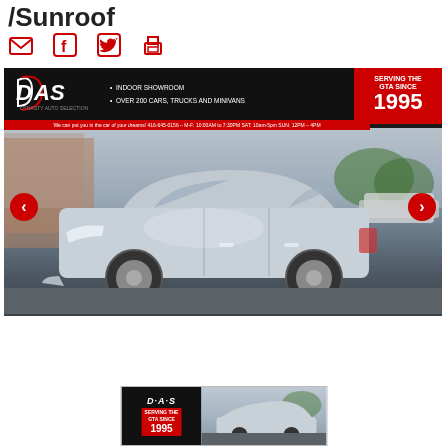/Sunroof
[Figure (other): Social sharing icons row: email, Facebook, Twitter, print]
[Figure (photo): Dynasty Auto Selection (DAS) dealer advertisement showing a silver Acura MDX SUV in a parking lot. Top banner shows DAS logo, 'INDOOR SHOWROOM', 'OVER 200 CARS, TRUCKS AND MINIVANS', red badge 'SERVING THE GTA SINCE 1995'. Red subline with phone and hours. Navigation arrows on left and right. Thumbnail strip at bottom.]